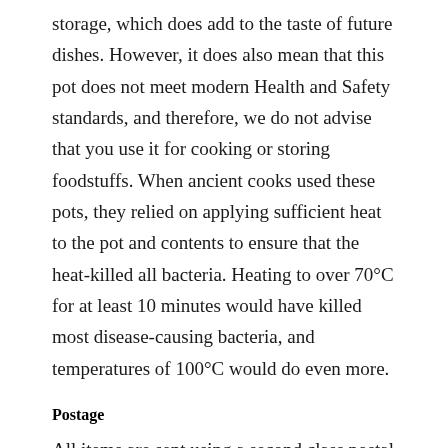storage, which does add to the taste of future dishes. However, it does also mean that this pot does not meet modern Health and Safety standards, and therefore, we do not advise that you use it for cooking or storing foodstuffs. When ancient cooks used these pots, they relied on applying sufficient heat to the pot and contents to ensure that the heat-killed all bacteria. Heating to over 70°C for at least 10 minutes would have killed most disease-causing bacteria, and temperatures of 100°C would do even more.
Postage
All items are sent using a second class postal service; if you wish to have an item sent first class, please contact me for a quote. Many Thanks